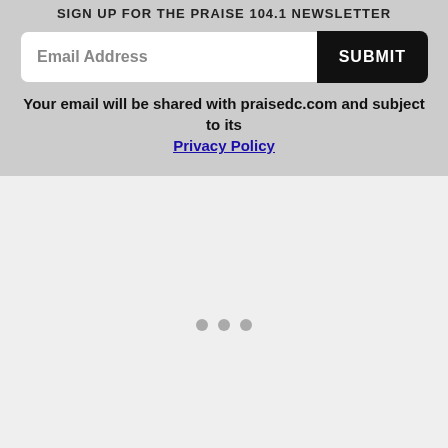SIGN UP FOR THE PRAISE 104.1 NEWSLETTER
Email Address
SUBMIT
Your email will be shared with praisedc.com and subject to its Privacy Policy
[Figure (other): Loading spinner area with three grey dots on light grey background]
[Figure (other): Three grey dots on black background footer area]